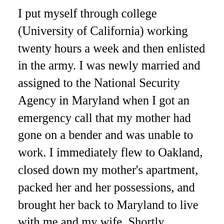I put myself through college (University of California) working twenty hours a week and then enlisted in the army. I was newly married and assigned to the National Security Agency in Maryland when I got an emergency call that my mother had gone on a bender and was unable to work. I immediately flew to Oakland, closed down my mother's apartment, packed her and her possessions, and brought her back to Maryland to live with me and my wife. Shortly thereafter, she moved to Virginia, where her mother now lived, and resumed her career as a teacher. A few years later, she died of lung cancer, the consequence of years of smoking. She never stopped drinking.
...